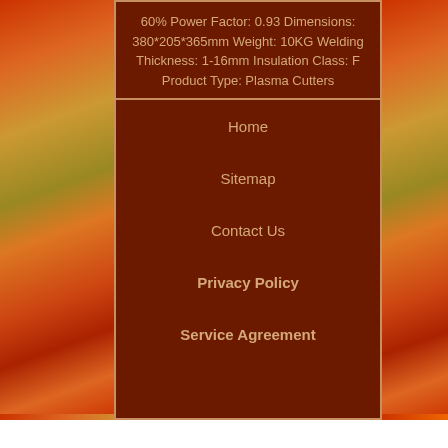60% Power Factor: 0.93 Dimensions: 380*205*365mm Weight: 10KG Welding Thickness: 1-16mm Insulation Class: F Product Type: Plasma Cutters
Home
Sitemap
Contact Us
Privacy Policy
Service Agreement